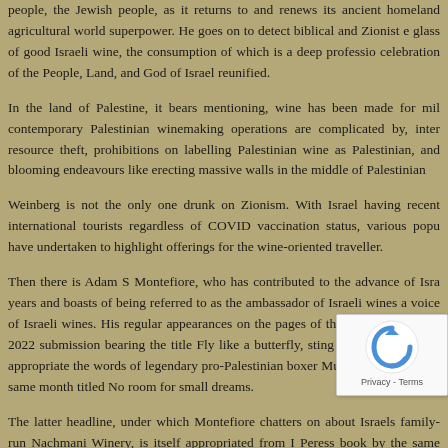people, the Jewish people, as it returns to and renews its ancient homeland agricultural world superpower. He goes on to detect biblical and Zionist e glass of good Israeli wine, the consumption of which is a deep professio celebration of the People, Land, and God of Israel reunified.
In the land of Palestine, it bears mentioning, wine has been made for mil contemporary Palestinian winemaking operations are complicated by, inter resource theft, prohibitions on labelling Palestinian wine as Palestinian, an blooming endeavours like erecting massive walls in the middle of Palestinian
Weinberg is not the only one drunk on Zionism. With Israel having recent international tourists regardless of COVID vaccination status, various pop have undertaken to highlight offerings for the wine-oriented traveller.
Then there is Adam S Montefiore, who has contributed to the advance of Isra years and boasts of being referred to as the ambassador of Israeli wines a voice of Israeli wines. His regular appearances on the pages of the Jerusale a March 2022 submission bearing the title Fly like a butterfly, sting like a be Israeli to appropriate the words of legendary pro-Palestinian boxer Muh another one the same month titled No room for small dreams.
The latter headline, under which Montefiore chatters on about Israels family-run Nachmani Winery, is itself appropriated from I Peress book by the same name. Speaking of things vine-relate the man who presided over Operation Grapes of Wrath, the bloody 199
[Figure (other): reCAPTCHA badge with blue arrow icon and Privacy - Terms text]